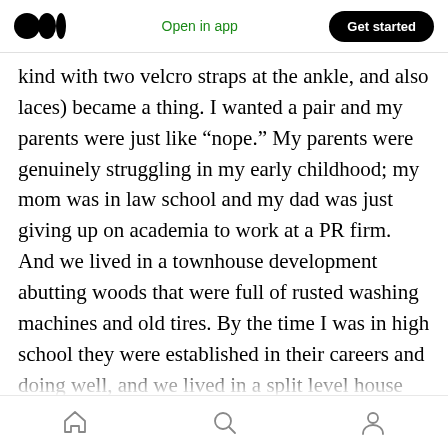Medium logo | Open in app | Get started
kind with two velcro straps at the ankle, and also laces) became a thing. I wanted a pair and my parents were just like “nope.” My parents were genuinely struggling in my early childhood; my mom was in law school and my dad was just giving up on academia to work at a PR firm. And we lived in a townhouse development abutting woods that were full of rusted washing machines and old tires. By the time I was in high school they were established in their careers and doing well, and we lived in a split level house with a big yard near good public schools. I didn’t think we
Home | Search | Profile